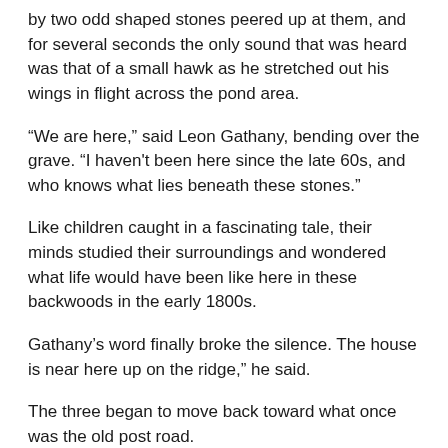by two odd shaped stones peered up at them, and for several seconds the only sound that was heard was that of a small hawk as he stretched out his wings in flight across the pond area.
“We are here,” said Leon Gathany, bending over the grave. “I haven't been here since the late 60s, and who knows what lies beneath these stones.”
Like children caught in a fascinating tale, their minds studied their surroundings and wondered what life would have been like here in these backwoods in the early 1800s.
Gathany’s word finally broke the silence. The house is near here up on the ridge,” he said.
The three began to move back toward what once was the old post road.